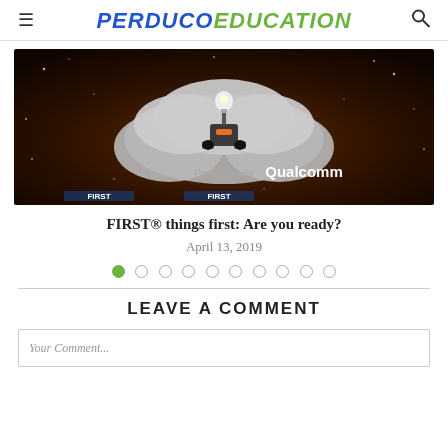PERDUCOEDUCATION
[Figure (screenshot): Dark brown/space-themed banner image showing a robot with a lightbulb character above clouds, with text 'Presented By Qualcomm' and 'FIRST' branding at the bottom]
FIRST® things first: Are you ready?
April 13, 2019
LEAVE A COMMENT
Your Comment...